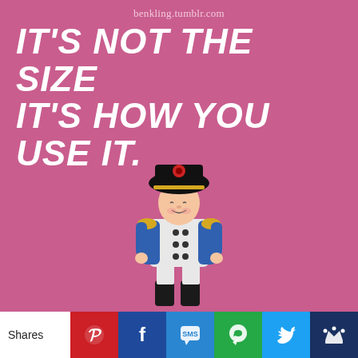[Figure (illustration): Pink background motivational image with cartoon Napoleon Bonaparte figure and bold white italic text reading IT'S NOT THE SIZE IT'S HOW YOU USE IT. with benkling.tumblr.com URL at top. Below the image is a social sharing bar with Pinterest, Facebook, SMS, WhatsApp, Twitter, and crown icons, plus a Shares label.]